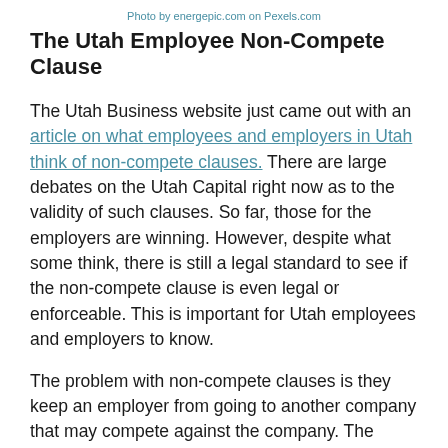Photo by energepic.com on Pexels.com
The Utah Employee Non-Compete Clause
The Utah Business website just came out with an article on what employees and employers in Utah think of non-compete clauses. There are large debates on the Utah Capital right now as to the validity of such clauses. So far, those for the employers are winning. However, despite what some think, there is still a legal standard to see if the non-compete clause is even legal or enforceable. This is important for Utah employees and employers to know.
The problem with non-compete clauses is they keep an employer from going to another company that may compete against the company. The issue arises where an individual may not be able to find work elsewhere